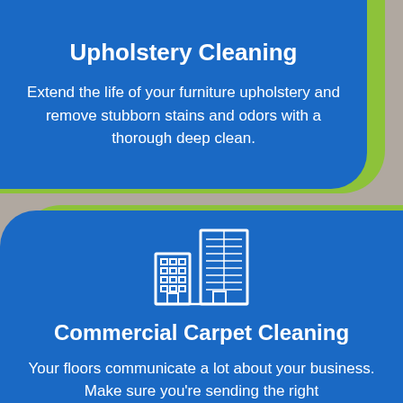Upholstery Cleaning
Extend the life of your furniture upholstery and remove stubborn stains and odors with a thorough deep clean.
[Figure (illustration): White line-art icon of a commercial office building complex with windows and grid patterns on a blue background]
Commercial Carpet Cleaning
Your floors communicate a lot about your business. Make sure you're sending the right